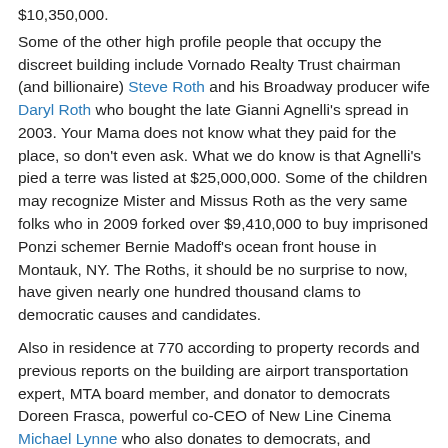$10,350,000.
Some of the other high profile people that occupy the discreet building include Vornado Realty Trust chairman (and billionaire) Steve Roth and his Broadway producer wife Daryl Roth who bought the late Gianni Agnelli's spread in 2003. Your Mama does not know what they paid for the place, so don't even ask. What we do know is that Agnelli's pied a terre was listed at $25,000,000. Some of the children may recognize Mister and Missus Roth as the very same folks who in 2009 forked over $9,410,000 to buy imprisoned Ponzi schemer Bernie Madoff's ocean front house in Montauk, NY. The Roths, it should be no surprise to now, have given nearly one hundred thousand clams to democratic causes and candidates.
Also in residence at 770 according to property records and previous reports on the building are airport transportation expert, MTA board member, and donator to democrats Doreen Frasca, powerful co-CEO of New Line Cinema Michael Lynne who also donates to democrats, and socialite art patron Sylvia de Cuevas. David and Lisa Schiff, the well-connected parents of son Drew who married Al Gore's...